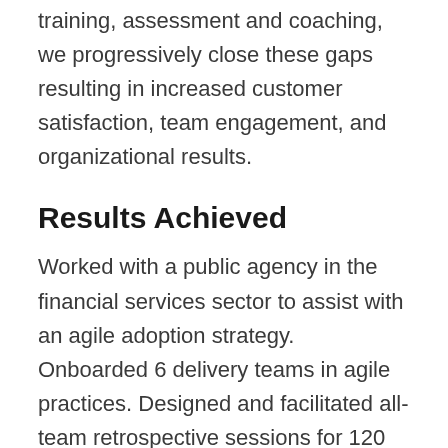Through thoughtful interventions consisting of training, assessment and coaching, we progressively close these gaps resulting in increased customer satisfaction, team engagement, and organizational results.
Results Achieved
Worked with a public agency in the financial services sector to assist with an agile adoption strategy. Onboarded 6 delivery teams in agile practices. Designed and facilitated all-team retrospective sessions for 120 people which provided actionable insights for the divisional leadership team.